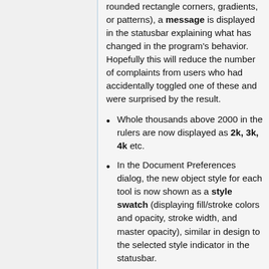rounded rectangle corners, gradients, or patterns), a message is displayed in the statusbar explaining what has changed in the program's behavior. Hopefully this will reduce the number of complaints from users who had accidentally toggled one of these and were surprised by the result.
Whole thousands above 2000 in the rulers are now displayed as 2k, 3k, 4k etc.
In the Document Preferences dialog, the new object style for each tool is now shown as a style swatch (displaying fill/stroke colors and opacity, stroke width, and master opacity), similar in design to the selected style indicator in the statusbar.